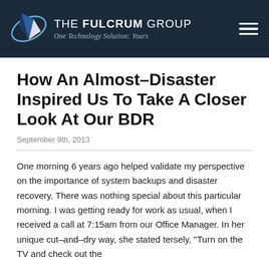THE FULCRUM GROUP — One Technology Solution: Yours
How An Almost–Disaster Inspired Us To Take A Closer Look At Our BDR
September 9th, 2013
One morning 6 years ago helped validate my perspective on the importance of system backups and disaster recovery. There was nothing special about this particular morning. I was getting ready for work as usual, when I received a call at 7:15am from our Office Manager. In her unique cut–and–dry way, she stated tersely, "Turn on the TV and check out the